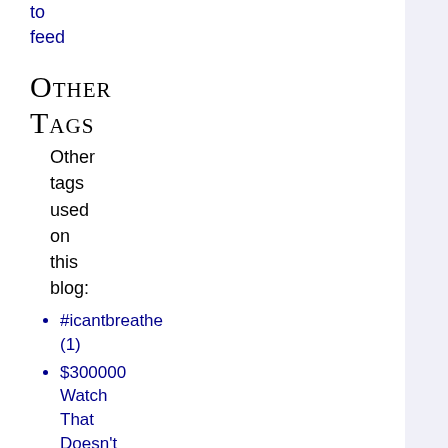to feed
Other
Tags
Other tags used on this blog:
#icantbreathe (1)
$300000 Watch That Doesn't Tell Time (1)
12 Rules for